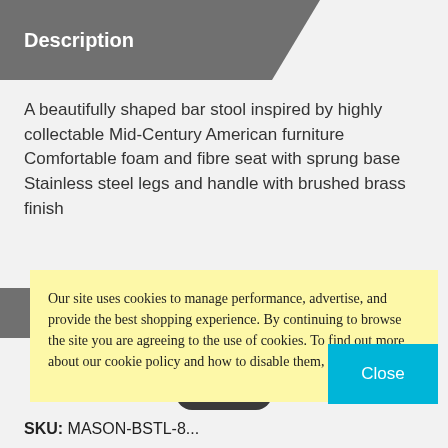Description
A beautifully shaped bar stool inspired by highly collectable Mid-Century American furniture Comfortable foam and fibre seat with sprung base Stainless steel legs and handle with brushed brass finish
Our site uses cookies to manage performance, advertise, and provide the best shopping experience. By continuing to browse the site you are agreeing to the use of cookies. To find out more about our cookie policy and how to disable them, click here.
Close
SKU: MASON-BSTL-8...